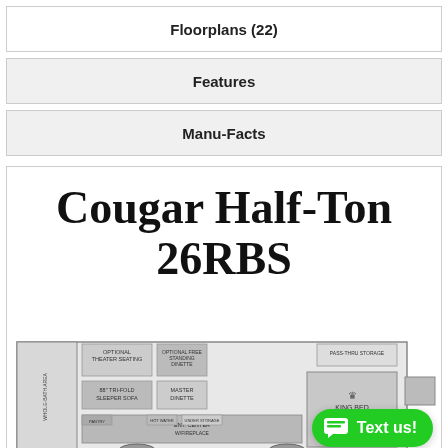Floorplans (22)
Features
Manu-Facts
Cougar Half-Ton 26RBS
[Figure (engineering-diagram): RV floorplan diagram for the Cougar Half-Ton 26RBS showing interior layout with labeled areas including optional theater seating, optional free-standing dinette, 88" tri-fold sleeper sofa, master dinette, pass-thru storage, king bed, entertainment center with fireplace, and additional storage areas.]